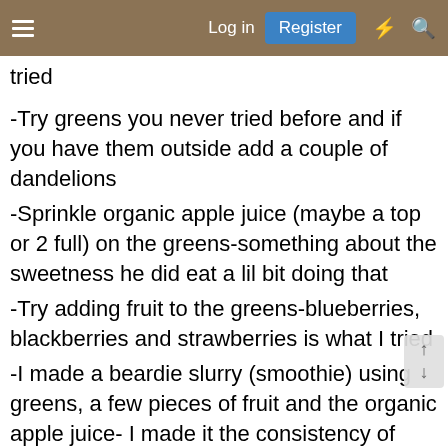Log in | Register
tried
-Try greens you never tried before and if you have them outside add a couple of dandelions
-Sprinkle organic apple juice (maybe a top or 2 full) on the greens-something about the sweetness he did eat a lil bit doing that
-Try adding fruit to the greens-blueberries, blackberries and strawberries is what I tried
-I made a beardie slurry (smoothie) using greens, a few pieces of fruit and the organic apple juice- I made it the consistency of baby food-try putting it on the greens as a salad dressing 1st. When that didn't work i fed him with a soft baby spoon and syringe. Before he started eating them that was how I was getting him to eat his greens. (Vet told me if that worked